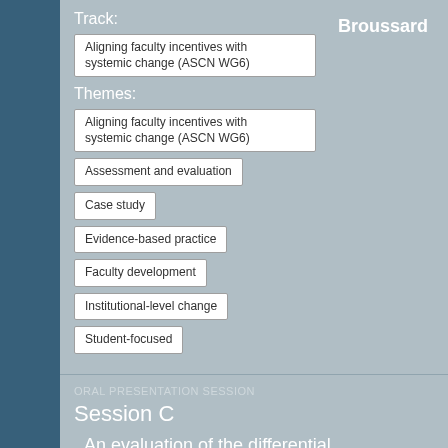Broussard
Track:
Aligning faculty incentives with systemic change (ASCN WG6)
Themes:
Aligning faculty incentives with systemic change (ASCN WG6)
Assessment and evaluation
Case study
Evidence-based practice
Faculty development
Institutional-level change
Student-focused
ORAL PRESENTATION SESSION
Session C
An evaluation of the differential effects of the prerequisite pathways on student performance in an introductory biology course